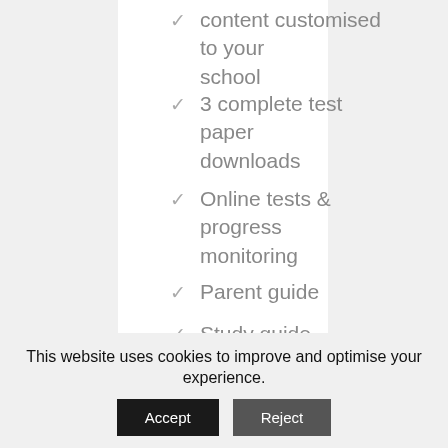content customised to your school
3 complete test paper downloads
Online tests & progress monitoring
Parent guide
Study guide
Parent coaching newsletters
Join our Swot Facebook Group
EBook - Unfair Advantage
This website uses cookies to improve and optimise your experience.
Accept
Reject